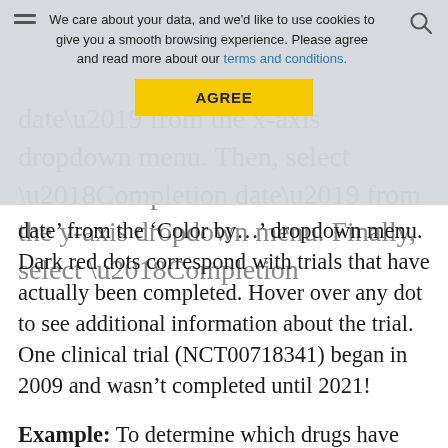date’ from the x-axis dropdown menu. Then, select ‘Completion date’ from the y-axis dropdown menu. Finally, select ‘Completion date type’ from the ‘Color by…’ dropdown menu. Dark red dots correspond with trials that have actually been completed. Hover over any dot to see additional information about the trial. One clinical trial (NCT00718341) began in 2009 and wasn’t completed until 2021!
Example: To determine which drugs have